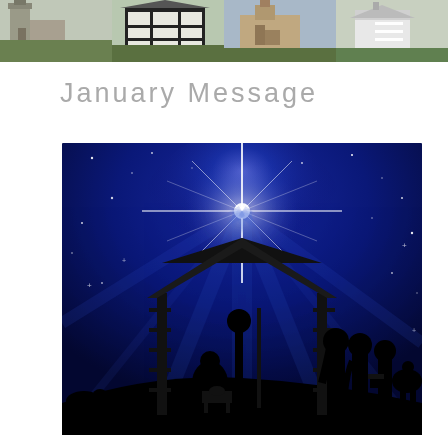[Figure (photo): Header banner showing four church photographs side by side with a hamburger menu icon overlay on the right side]
January Message
[Figure (photo): Nativity scene silhouette against a deep blue starry night sky with bright star shining above a stable, showing Mary, Joseph, baby Jesus, wise men, and a sheep]